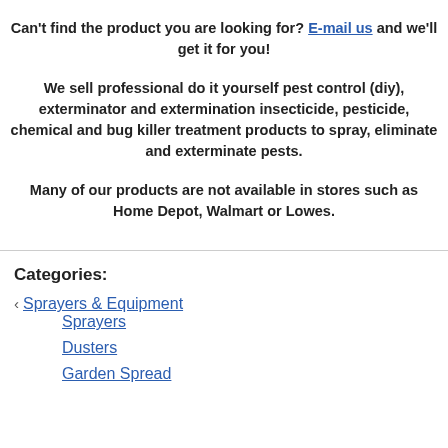Can't find the product you are looking for? E-mail us and we'll get it for you!
We sell professional do it yourself pest control (diy), exterminator and extermination insecticide, pesticide, chemical and bug killer treatment products to spray, eliminate and exterminate pests.
Many of our products are not available in stores such as Home Depot, Walmart or Lowes.
Categories:
Sprayers & Equipment
Sprayers
Dusters
Garden Sprayers (partial)